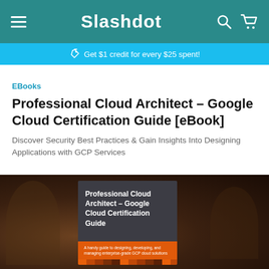Slashdot
Get $1 credit for every $25 spent!
EBooks
Professional Cloud Architect – Google Cloud Certification Guide [eBook]
Discover Security Best Practices & Gain Insights Into Designing Applications with GCP Services
[Figure (photo): Book cover for 'Professional Cloud Architect – Google Cloud Certification Guide' with dark background, gray book cover panel showing the title in white bold text, an orange strip at the bottom reading 'A handy guide to designing, developing, and managing enterprise-grade GCP cloud solutions', and a multi-colored horizontal stripe along the very bottom.]